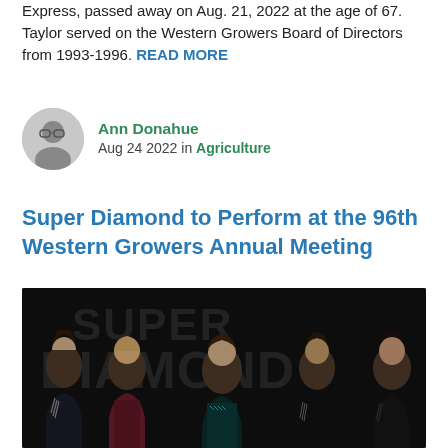Express, passed away on Aug. 21, 2022 at the age of 67. Taylor served on the Western Growers Board of Directors from 1993-1996. READ MORE
Ann Donahue
Aug 24 2022 in Agriculture
Super Diamond to Perform at the 96th Western Growers Annual Meeting
[Figure (photo): Five band members of Super Diamond posing in front of a large Super Diamond logo backdrop, wearing dark and sequined performance outfits]